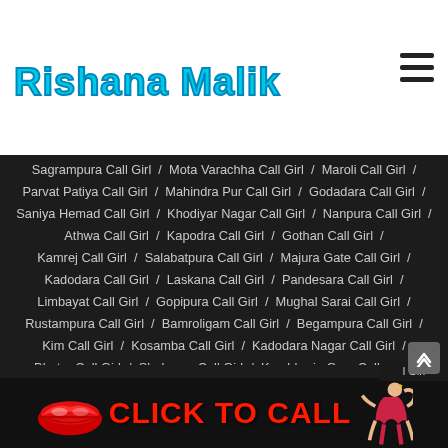Rishana Malik
Sagrampura Call Girl / Mota Varachha Call Girl / Maroli Call Girl / Parvat Patiya Call Girl / Mahindra Pur Call Girl / Godadara Call Girl / Saniya Hemad Call Girl / Khodiyar Nagar Call Girl / Nanpura Call Girl / Athwa Call Girl / Kapodra Call Girl / Gothan Call Girl / Kamrej Call Girl / Salabatpura Call Girl / Majura Gate Call Girl / Kadodara Call Girl / Laskana Call Girl / Pandesara Call Girl / Limbayat Call Girl / Gopipura Call Girl / Mughal Sarai Call Girl / Rustampura Call Girl / Bamroligam Call Girl / Begampura Call Girl / Kim Call Girl / Kosamba Call Girl / Kadodara Nagar Call Girl / Bhatar Call Girl / Shahpore Call Girl / Kumbharia Gam Call Girl / Nana Varachha Call Girl / Mahuva Call Girl / Chowk Bazar Call Girl / Sayan Call Girl / Haripura Call Girl / Vidhey Nagar Call Girl / Umarwada Call Girl / New City Light Call Girl / Tadwadi Call Girl / Punagam Call Girl / Sima Nagar Call Girl / Karamala Call Girl
[Figure (infographic): Red lips image on left, CLICK TO CALL text in red, woman figure on right, on dark background banner]